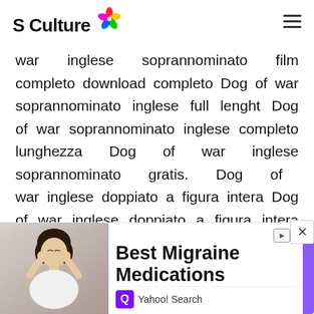S Culture
war inglese soprannominato film completo download completo Dog of war soprannominato inglese full lenght Dog of war soprannominato inglese completo lunghezza Dog of war inglese soprannominato gratis. Dog of war inglese doppiato a figura intera Dog of war inglese doppiato a figura intera Dog of war inglese doppiato gratis. Dog of war inglese doppiato a figura intera Dog of war inglese doppiato a figura intera Dog of war inglese doppiato gratis. Dog of war
[Figure (illustration): Advertisement banner showing a woman with hands on her temples (headache pose), with the text 'Best Migraine Medications' and Yahoo! Search branding]